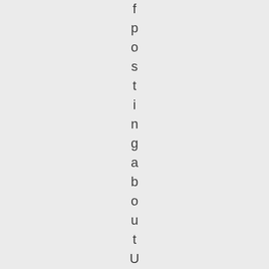f p o s t i n g a b o u t U B E